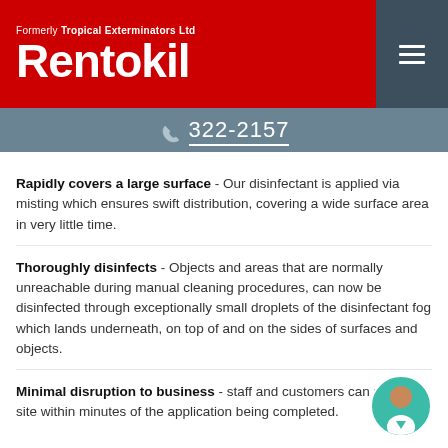Formerly Tropical Exterminators Ltd
Rentokil
322-2157
Rapidly covers a large surface - Our disinfectant is applied via misting which ensures swift distribution, covering a wide surface area in very little time.
Thoroughly disinfects - Objects and areas that are normally unreachable during manual cleaning procedures, can now be disinfected through exceptionally small droplets of the disinfectant fog which lands underneath, on top of and on the sides of surfaces and objects.
Minimal disruption to business - staff and customers can return to site within minutes of the application being completed.